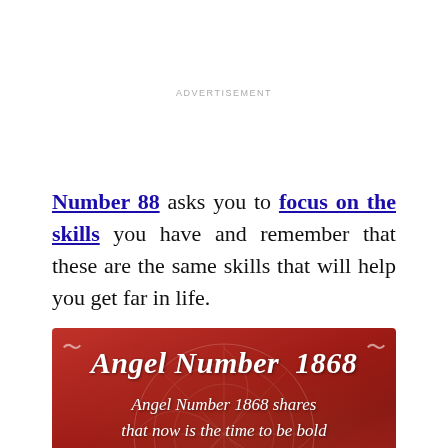ADVERTISEMENT
Number 88 asks you to focus on the skills you have and remember that these are the same skills that will help you get far in life.
[Figure (illustration): Red decorative image with text: 'Angel Number 1868' as bold italic title, followed by italic text 'Angel Number 1868 shares that now is the time to be bold and fight for all of the things that you deserve.' with ornamental swirl background and sun motif at bottom.]